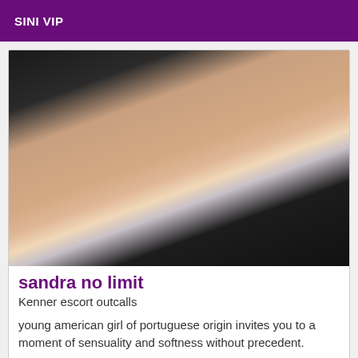SINI VIP
[Figure (photo): Cropped photo of a woman with dark hair wearing a black cardigan open at the front with a white bra visible underneath, photographed from neck to waist.]
sandra no limit
Kenner escort outcalls
young american girl of portuguese origin invites you to a moment of sensuality and softness without precedent.